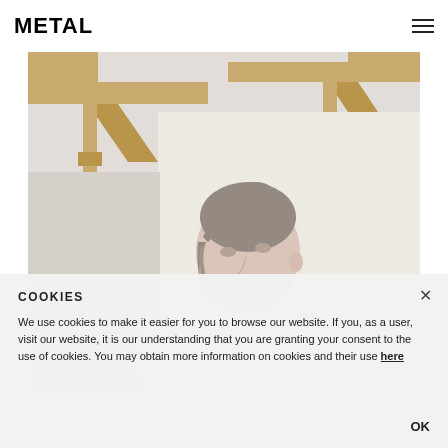METAL
[Figure (photo): Woman with dark hair in a bun, looking upward to the right, wearing a white top, with wooden shelving/beams visible above her against a white wall background.]
COOKIES
We use cookies to make it easier for you to browse our website. If you, as a user, visit our website, it is our understanding that you are granting your consent to the use of cookies. You may obtain more information on cookies and their use here
OK